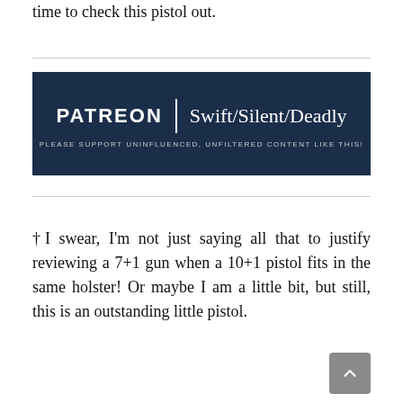time to check this pistol out.
[Figure (other): Patreon banner for Swift/Silent/Deadly with dark navy background. Says PATREON | Swift/Silent/Deadly and below: PLEASE SUPPORT UNINFLUENCED, UNFILTERED CONTENT LIKE THIS!]
†I swear, I'm not just saying all that to justify reviewing a 7+1 gun when a 10+1 pistol fits in the same holster! Or maybe I am a little bit, but still, this is an outstanding little pistol.